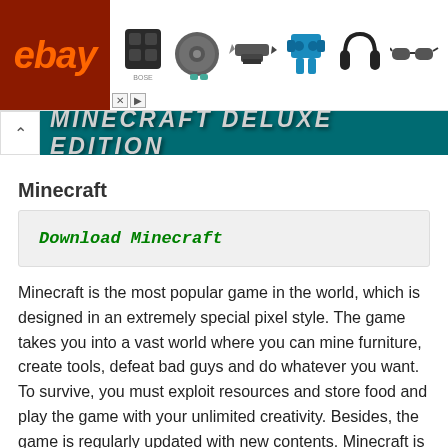[Figure (screenshot): eBay advertisement banner showing various products including a Bose speaker, Roomba robot vacuum, power tools, headphones, and sunglasses]
[Figure (screenshot): Game title banner on teal background showing 'Minecraft Deluxe Edition' text in large bold stylized font, with a collapse arrow button on the left]
Minecraft
Download Minecraft
Minecraft is the most popular game in the world, which is designed in an extremely special pixel style. The game takes you into a vast world where you can mine furniture, create tools, defeat bad guys and do whatever you want. To survive, you must exploit resources and store food and play the game with your unlimited creativity. Besides, the game is regularly updated with new contents. Minecraft is